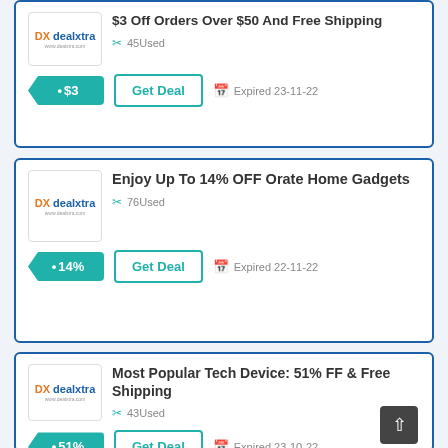$3 Off Orders Over $50 And Free Shipping — 45Used — Expired 23-11-22
Enjoy Up To 14% OFF Orate Home Gadgets — 76Used — Expired 22-11-22
Most Popular Tech Device: 51% FF & Free Shipping — 43Used — Expired 23-10-22